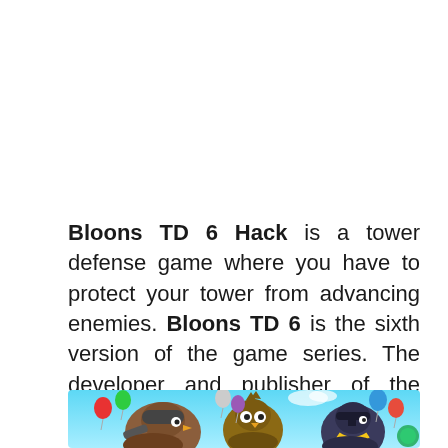Bloons TD 6 Hack is a tower defense game where you have to protect your tower from advancing enemies. Bloons TD 6 is the sixth version of the game series. The developer and publisher of the game are Ninja Kiwi.
[Figure (illustration): Bloons TD 6 game screenshot showing cartoon bird characters with balloons in a colorful sky background]